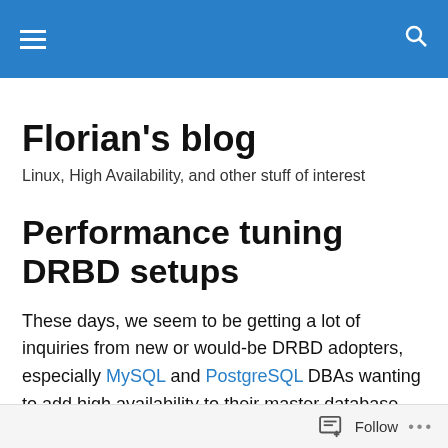Florian's blog — navigation header bar
Florian's blog
Linux, High Availability, and other stuff of interest
Performance tuning DRBD setups
These days, we seem to be getting a lot of inquiries from new or would-be DRBD adopters, especially MySQL and PostgreSQL DBAs wanting to add high availability to their master database servers. And these, unsurprisingly, turn out to be two of their most popular questions:
Follow •••